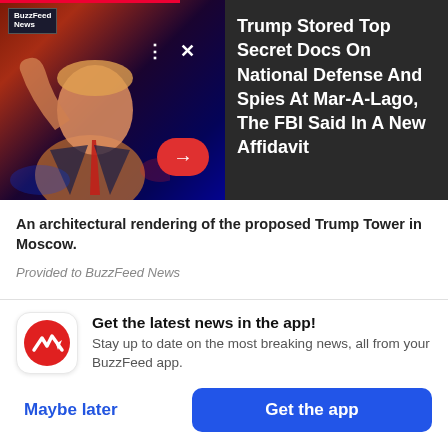[Figure (screenshot): News app card showing Trump photo with BuzzFeed News logo, red progress bar, dots and X controls, red arrow button overlaid on dark background photo of Trump waving]
Trump Stored Top Secret Docs On National Defense And Spies At Mar-A-Lago, The FBI Said In A New Affidavit
An architectural rendering of the proposed Trump Tower in Moscow.
Provided to BuzzFeed News
The tallest tower in Europe
[Figure (screenshot): BuzzFeed app install banner with red circular logo icon, notification text and two buttons: Maybe later and Get the app]
Get the latest news in the app! Stay up to date on the most breaking news, all from your BuzzFeed app.
Maybe later
Get the app